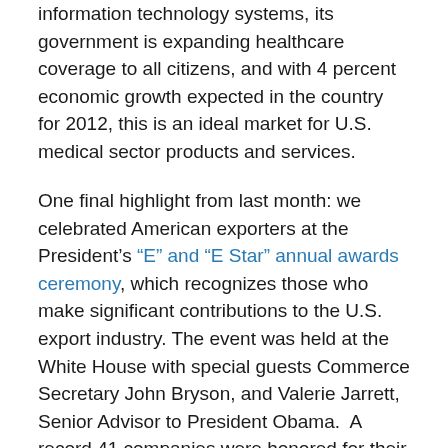information technology systems, its government is expanding healthcare coverage to all citizens, and with 4 percent economic growth expected in the country for 2012, this is an ideal market for U.S. medical sector products and services.
One final highlight from last month: we celebrated American exporters at the President’s “E” and “E Star” annual awards ceremony, which recognizes those who make significant contributions to the U.S. export industry. The event was held at the White House with special guests Commerce Secretary John Bryson, and Valerie Jarrett, Senior Advisor to President Obama. A record 41 companies were honored for their excellence, and, in the larger picture, the event emphasized how important U.S. exports are to America’s economy and future.